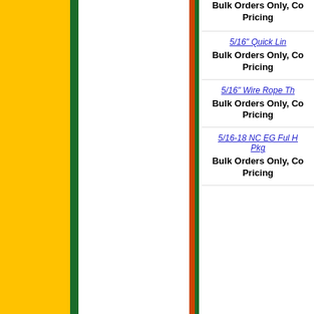Bulk Orders Only, Contact for Pricing
5/16" Quick Lin...
Bulk Orders Only, Contact for Pricing
5/16" Wire Rope Th...
Bulk Orders Only, Contact for Pricing
5/16-18 NC EG Ful H... Pkg
Bulk Orders Only, Contact for Pricing